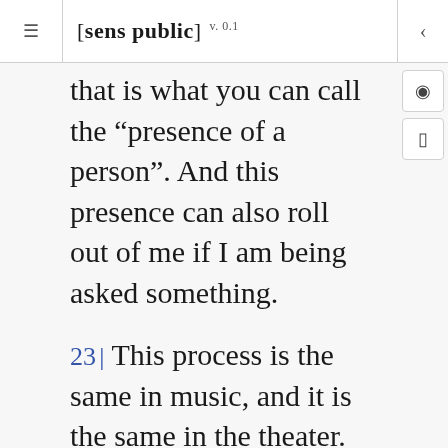[sens public] v. 0.1
that is what you can call the “presence of a person”. And this presence can also roll out of me if I am being asked something.
23 | This process is the same in music, and it is the same in the theater. The